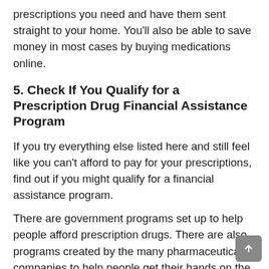prescriptions you need and have them sent straight to your home. You'll also be able to save money in most cases by buying medications online.
5. Check If You Qualify for a Prescription Drug Financial Assistance Program
If you try everything else listed here and still feel like you can't afford to pay for your prescriptions, find out if you might qualify for a financial assistance program.
There are government programs set up to help people afford prescription drugs. There are also programs created by the many pharmaceutical companies to help people get their hands on the medications they need.